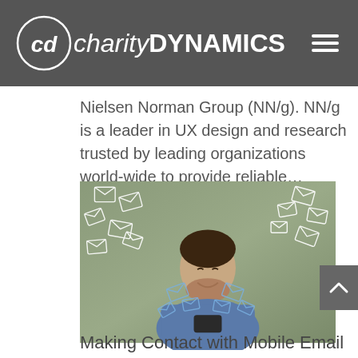charity DYNAMICS
Nielsen Norman Group (NN/g). NN/g is a leader in UX design and research trusted by leading organizations world-wide to provide reliable...
[Figure (photo): Man smiling while looking at his smartphone with illustrated email envelope icons flying around him, symbolizing mobile email communication.]
Making Contact with Mobile Email